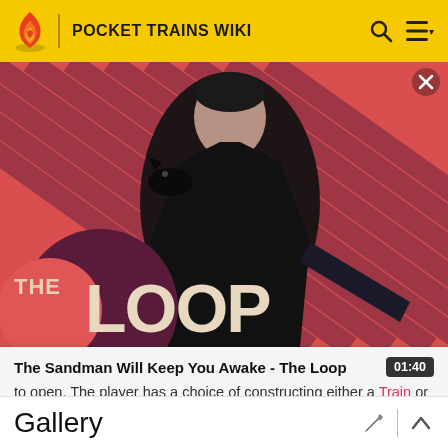POCKET TRAINS WIKI
[Figure (screenshot): The Loop promotional image with a dark figure in a black coat and a crow on their shoulder, against a red and dark purple diagonal stripe background, with 'THE LOOP' text overlay in large letters. A video player overlay shows title 'The Sandman Will Keep You Awake - The Loop' and duration 01:40.]
to open. The player has a choice of constructing either a Train or Fuelcar once they have collected enough parts.
Gallery